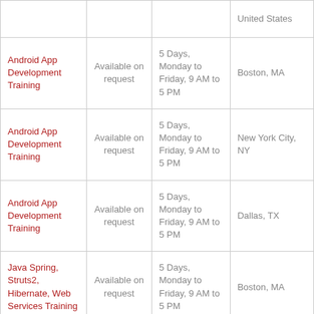| Course | Schedule | Duration | Location |
| --- | --- | --- | --- |
|  |  |  | United States |
| Android App Development Training | Available on request | 5 Days, Monday to Friday, 9 AM to 5 PM | Boston, MA |
| Android App Development Training | Available on request | 5 Days, Monday to Friday, 9 AM to 5 PM | New York City, NY |
| Android App Development Training | Available on request | 5 Days, Monday to Friday, 9 AM to 5 PM | Dallas, TX |
| Java Spring, Struts2, Hibernate, Web Services Training | Available on request | 5 Days, Monday to Friday, 9 AM to 5 PM | Boston, MA |
| Java Spring |  |  |  |